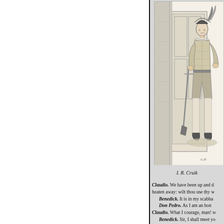[Figure (illustration): Black and white engraving illustration showing a figure in period costume standing near a doorway or architectural element, in the style of a theatrical scene illustration.]
I. R. Cruik
Claudio. We have been up and d heaten away: wilt thou use thy w
Benedick. It is in my scabba Don Pedro. As I am an hon
Claudio. What I courage, man! w
Benedick. Sir, I shall meet yo